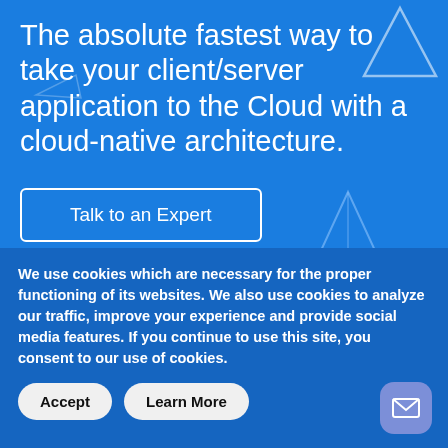The absolute fastest way to take your client/server application to the Cloud with a cloud-native architecture.
[Figure (illustration): Decorative geometric triangle outlines in white/light blue used as design elements on blue background]
Talk to an Expert
We use cookies which are necessary for the proper functioning of its websites. We also use cookies to analyze our traffic, improve your experience and provide social media features. If you continue to use this site, you consent to our use of cookies.
Accept
Learn More